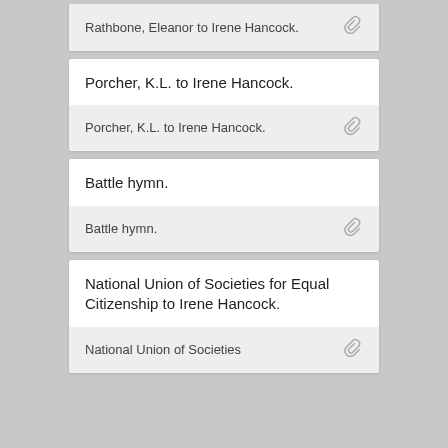Rathbone, Eleanor to Irene Hancock.
Porcher, K.L. to Irene Hancock.
Porcher, K.L. to Irene Hancock.
Battle hymn.
Battle hymn.
National Union of Societies for Equal Citizenship to Irene Hancock.
National Union of Societies